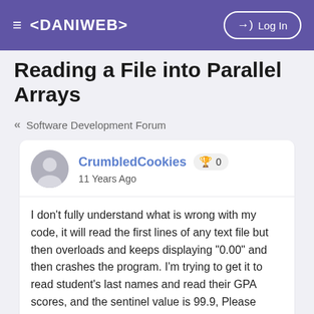≡ <DANIWEB>   →) Log In
Reading a File into Parallel Arrays ✓
« Software Development Forum
CrumbledCookies 🏆 0
11 Years Ago
I don't fully understand what is wrong with my code, it will read the first lines of any text file but then overloads and keeps displaying "0.00" and then crashes the program. I'm trying to get it to read student's last names and read their GPA scores, and the sentinel value is 99.9, Please help.
#include <iostream>
#include <iomanip>